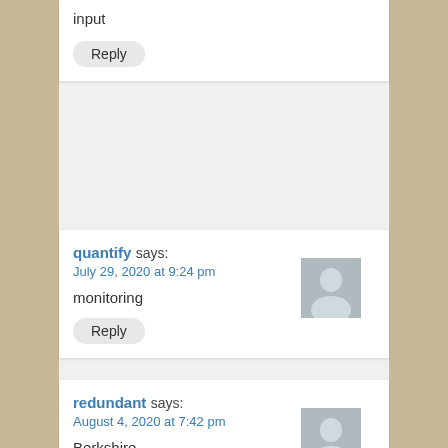input
Reply
quantify says:
July 29, 2020 at 9:24 pm
monitoring
Reply
redundant says:
August 4, 2020 at 7:42 pm
Berkshire
Reply